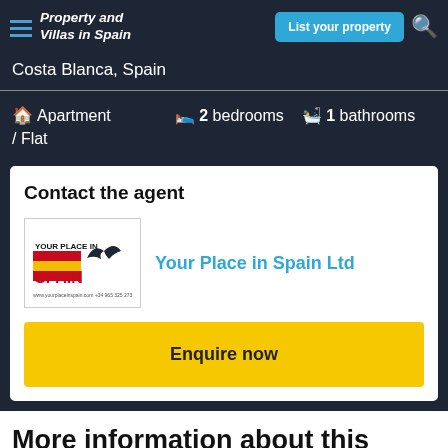Property and Villas in Spain | List your property
Costa Blanca, Spain
Apartment / Flat   2 bedrooms   1 bathrooms
Contact the agent
Your Place in Spain Ltd
Enquire now
More information about this